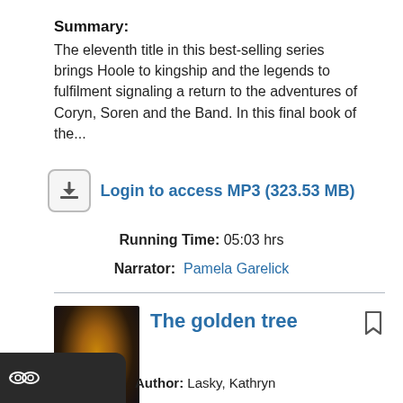Summary: The eleventh title in this best-selling series brings Hoole to kingship and the legends to fulfilment signaling a return to the adventures of Coryn, Soren and the Band. In this final book of the...
Login to access MP3 (323.53 MB)
Running Time: 05:03 hrs
Narrator: Pamela Garelick
The golden tree
Author: Lasky, Kathryn